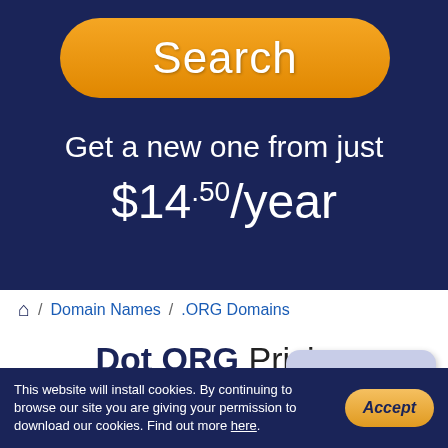[Figure (screenshot): Orange rounded Search button on dark navy background]
Get a new one from just $14.50/year
🏠 / Domain Names / .ORG Domains
Dot ORG Pricing
| TLD |
| --- |
[Figure (screenshot): Live Chat speech bubble widget]
This website will install cookies. By continuing to browse our site you are giving your permission to download our cookies. Find out more here.